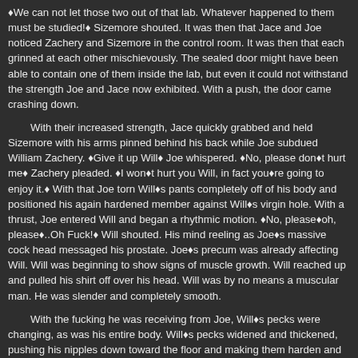We can not let those two out of that lab. Whatever happened to them must be studied! Sizemore shouted. It was then that Jace and Joe noticed Zachery and Sizemore in the control room. It was then that each grinned at each other mischievously. The sealed door might have been able to contain one of them inside the lab, but even it could not withstand the strength Joe and Jace now exhibited. With a push, the door came crashing down.
With their increased strength, Jace quickly grabbed and held Sizemore with his arms pinned behind his back while Joe subdued William Zachery. Give it up Will Joe whispered. No, please don't hurt me Zachery pleaded. I won't hurt you Will, in fact you're going to enjoy it. With that Joe torn Will's pants completely off of his body and positioned his again hardened member against Will's virgin hole. With a thrust, Joe entered Will and began a rhythmic motion. No, please...oh, please...Oh Fuck! Will shouted. His mind reeling as Joe's massive cock head messaged his prostate. Joe's precum was already affecting Will. Will was beginning to show signs of muscle growth. Will reached up and pulled his shirt off over his head. Will was by no means a muscular man. He was slender and completely smooth.
With the fucking he was receiving from Joe, Will's pecks were changing, as was his entire body. Will's pecks widened and thickened, pushing his nipples down toward the floor and making them harden and enlarge. Each nipple was now encircled by a ring of blonde hair and the hair was spreading out across his pecks. Oh fuck...please, don't stop! Keep fucking me Will pleaded. His mind completely changed thanks to the concentrated dose of the steroid mixture he was receiving through Joe's precum.
I hope you're enjoying the show Mr. Sizemore Jace goaded, Because you're next. Please don't do this Sizemore begged. Why Mr. Sizemore, look at how happy Will is now, why would you not want to experience that happiness? Jace jokingly questioned. In the minutes that followed, Will had continued to change. He was now larger than most bodybuilders with shoulders the size of bowling balls, a huge wide chest with nipples the size of